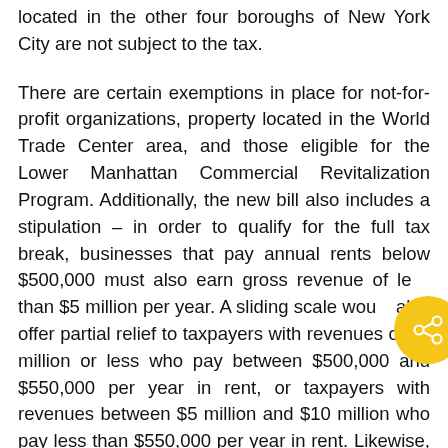located in the other four boroughs of New York City are not subject to the tax.
There are certain exemptions in place for not-for-profit organizations, property located in the World Trade Center area, and those eligible for the Lower Manhattan Commercial Revitalization Program. Additionally, the new bill also includes a stipulation – in order to qualify for the full tax break, businesses that pay annual rents below $500,000 must also earn gross revenue of less than $5 million per year. A sliding scale would also offer partial relief to taxpayers with revenues of $5 million or less who pay between $500,000 and $550,000 per year in rent, or taxpayers with revenues between $5 million and $10 million who pay less than $550,000 per year in rent. Likewise, those businesses with an annual revenue of $10 million or more will be